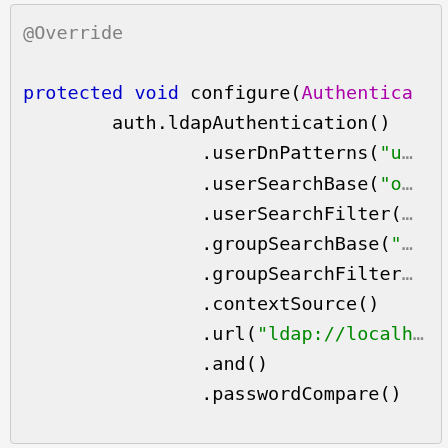[Figure (screenshot): Code snippet showing Java Spring Security LDAP configuration with @Override annotation, protected void configure method, and chained method calls including ldapAuthentication, userDnPatterns, userSearchBase, userSearchFilter, groupSearchBase, groupSearchFilter, contextSource, url, and, passwordCompare]